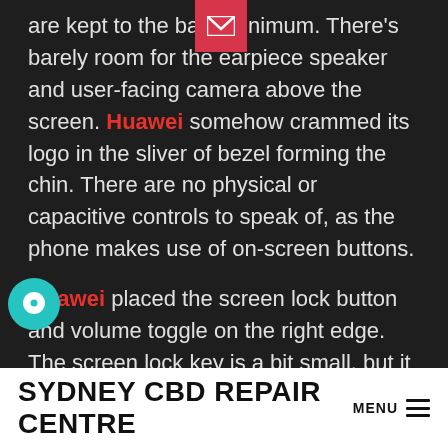are kept to the bare minimum. There's barely room for the earpiece speaker and user-facing camera above the screen. Huawei somehow crammed its logo in the sliver of bezel forming the chin. There are no physical or capacitive controls to speak of, as the phone makes use of on-screen buttons.
Huawei placed the screen lock button and volume toggle on the right edge. The screen lock key is a bit small, but it has a ribbed texture and an excellent profile. Travel and feedback are great. The volume toggle has a smooth texture, a pleasing profile, and fine travel and feedback. The SIM card tray is the only functional element found on the phone's left edge. The Mate 10 Pro supports two
SYDNEY CBD REPAIR CENTRE MENU ≡